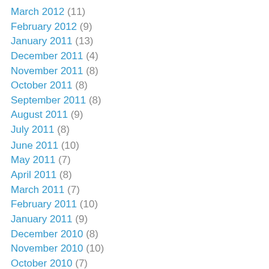March 2012 (11)
February 2012 (9)
January 2011 (13)
December 2011 (4)
November 2011 (8)
October 2011 (8)
September 2011 (8)
August 2011 (9)
July 2011 (8)
June 2011 (10)
May 2011 (7)
April 2011 (8)
March 2011 (7)
February 2011 (10)
January 2011 (9)
December 2010 (8)
November 2010 (10)
October 2010 (7)
September 2010 (4)
August 2010 (5)